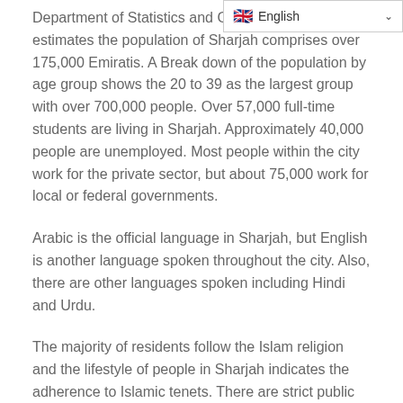Department of Statistics and Community estimates the population of Sharjah comprises over 175,000 Emiratis. A Break down of the population by age group shows the 20 to 39 as the largest group with over 700,000 people. Over 57,000 full-time students are living in Sharjah. Approximately 40,000 people are unemployed. Most people within the city work for the private sector, but about 75,000 work for local or federal governments.
Arabic is the official language in Sharjah, but English is another language spoken throughout the city. Also, there are other languages spoken including Hindi and Urdu.
The majority of residents follow the Islam religion and the lifestyle of people in Sharjah indicates the adherence to Islamic tenets. There are strict public decency laws initiated